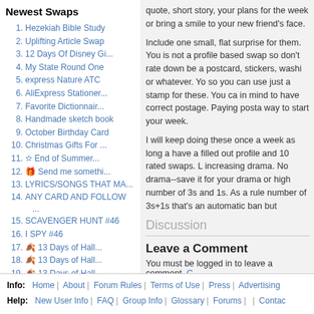Newest Swaps
1. Hezekiah Bible Study
2. Uplifting Article Swap
3. 12 Days Of Disney Gi...
4. My State Round One
5. express Nature ATC
6. AliExpress Stationer...
7. Favorite Dictionnair...
8. Handmade sketch book
9. October Birthday Card
10. Christmas Gifts For ...
11. ✳ End of Summer...
12. 🎁 Send me somethi...
13. LYRICS/SONGS THAT MA...
14. ANY CARD AND FOLLOW ...
15. SCAVENGER HUNT #46
16. I SPY #46
17. 🍂 13 Days of Hall...
18. 🍂 13 Days of Hall...
19. 🍂 13 Days of Hall...
20. 🍂 13 Days of Hall...
quote, short story, your plans for the week or bring a smile to your new friend's face.
Include one small, flat surprise for them. You is not a profile based swap so don't rate down be a postcard, stickers, washi or whatever. Yo so you can use just a stamp for these. You ca in mind to have correct postage. Paying posta way to start your week.
I will keep doing these once a week as long a have a filled out profile and 10 rated swaps. L increasing drama. No drama--save it for your drama or high number of 3s and 1s. As a rule number of 3s+1s that's an automatic ban but
Discussion
Leave a Comment
You must be logged in to leave a comment. C
Info: Home | About | Forum Rules | Terms of Use | Press | Advertising | Help: New User Info | FAQ | Group Info | Glossary | Forums | | Contac